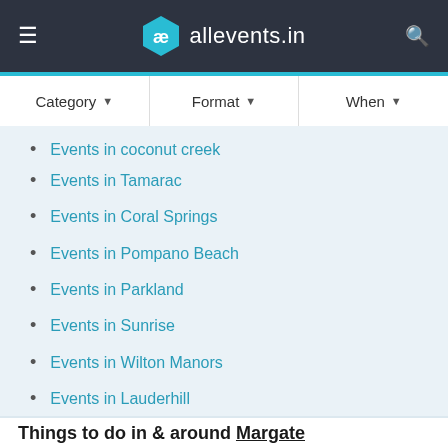allevents.in navigation bar with hamburger menu, logo, and search icon
Events in coconut creek
Events in Tamarac
Events in Coral Springs
Events in Pompano Beach
Events in Parkland
Events in Sunrise
Events in Wilton Manors
Events in Lauderhill
Things to do in & around Margate